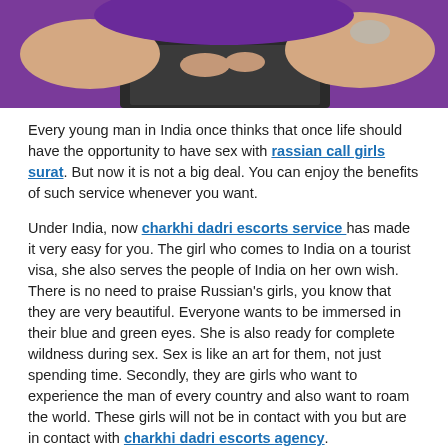[Figure (photo): Close-up photo of a woman wearing purple top and dark shorts, sitting on a chair, hands visible]
Every young man in India once thinks that once life should have the opportunity to have sex with rassian call girls surat. But now it is not a big deal. You can enjoy the benefits of such service whenever you want.
Under India, now charkhi dadri escorts service has made it very easy for you. The girl who comes to India on a tourist visa, she also serves the people of India on her own wish. There is no need to praise Russian's girls, you know that they are very beautiful. Everyone wants to be immersed in their blue and green eyes. She is also ready for complete wildness during sex. Sex is like an art for them, not just spending time. Secondly, they are girls who want to experience the man of every country and also want to roam the world. These girls will not be in contact with you but are in contact with charkhi dadri escorts agency.
Most excellent Escort Agency to hire when you are in hojai Escorts Services